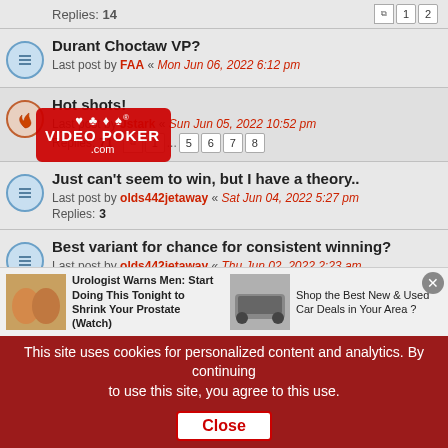Replies: 14 [page buttons: 1, 2]
Durant Choctaw VP? — Last post by FAA « Mon Jun 06, 2022 6:12 pm
[Figure (screenshot): Video Poker .com logo badge overlay]
Hot shots! — Last post by Jstark « Sun Jun 05, 2022 10:52 pm — Replies: 71 [pages: 1 ... 5 6 7 8]
Just can't seem to win, but I have a theory.. — Last post by olds442jetaway « Sat Jun 04, 2022 5:27 pm — Replies: 3
Best variant for chance for consistent winning? — Last post by olds442jetaway « Thu Jun 02, 2022 2:23 am — Replies: 8
Just another day at the office — Last post by OTABILL « Thu Jun 02, 2022 12:15 am — Replies: 19 [pages: 1, 2]
to vegas in september!
[Figure (screenshot): Advertisement: Urologist Warns Men: Start Doing This Tonight to Shrink Your Prostate (Watch) and Shop the Best New & Used Car Deals in Your Area?]
This site uses cookies for personalized content and analytics. By continuing to use this site, you agree to this use. [Close button]